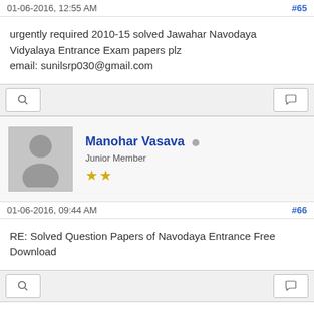01-06-2016, 12:55 AM    #65
urgently required 2010-15 solved Jawahar Navodaya Vidyalaya Entrance Exam papers plz
email: sunilsrp030@gmail.com
[Figure (other): Forum toolbar with search and reply icons]
[Figure (other): User profile avatar placeholder (grey silhouette)]
Manohar Vasava  Junior Member  ★★
01-06-2016, 09:44 AM    #66
RE: Solved Question Papers of Navodaya Entrance Free Download
[Figure (other): Forum toolbar with search and reply icons]